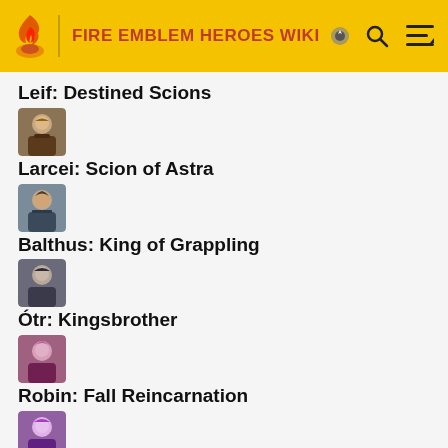FIRE EMBLEM HEROES WIKI
Leif: Destined Scions
[Figure (illustration): Small character avatar thumbnail for Larcei]
Larcei: Scion of Astra
[Figure (illustration): Small character avatar thumbnail for Balthus]
Balthus: King of Grappling
[Figure (illustration): Small character avatar thumbnail for Ótr]
Ótr: Kingsbrother
[Figure (illustration): Small character avatar thumbnail for Robin]
Robin: Fall Reincarnation
[Figure (illustration): Small character avatar thumbnail for Wolf]
Wolf: Coyote's Loyal
[Figure (illustration): Small character avatar thumbnail for Roshea]
Roshea: Coyote's Faithful